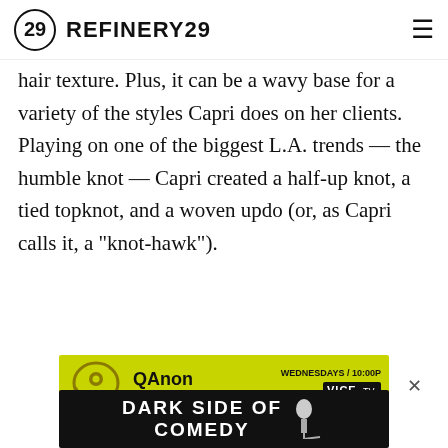REFINERY29
hair texture. Plus, it can be a wavy base for a variety of the styles Capri does on her clients. Playing on one of the biggest L.A. trends — the humble knot — Capri created a half-up knot, a tied topknot, and a woven updo (or, as Capri calls it, a "knot-hawk").
[Figure (other): QAnon VICE TV advertisement banner: yellow background with QAnon logo, text 'QAnon The Search for Q', 'WEDNESDAYS / 10:00P', VICE TV logo]
[Figure (other): Dark Side of Comedy advertisement banner: black background with white text 'DARK SIDE OF COMEDY' and microphone graphic]